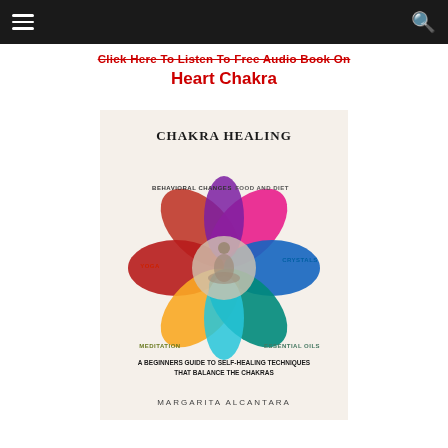Click Here To Listen To Free Audio Book On Heart Chakra
[Figure (illustration): Book cover of 'Chakra Healing: A Beginners Guide to Self-Healing Techniques That Balance the Chakras' by Margarita Alcantara. Features a colorful mandala/lotus flower made of petals in various colors (red, pink, purple, blue, teal, green, yellow, orange) with a meditating figure in the center. Labels around the flower indicate: Behavioral Changes, Food and Diet, Yoga, Crystals, Meditation, Essential Oils.]